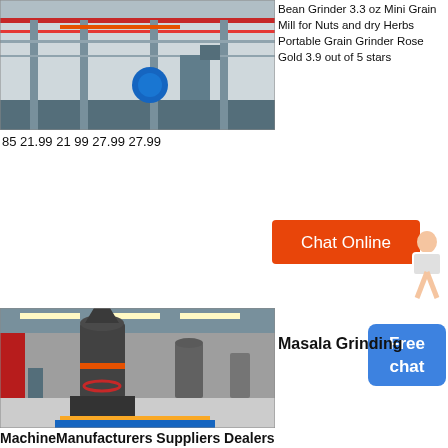[Figure (photo): Industrial machinery/equipment building exterior with pipes and structures]
Bean Grinder 3.3 oz Mini Grain Mill for Nuts and dry Herbs Portable Grain Grinder Rose Gold 3.9 out of 5 stars
85 21.99 21 99 27.99 27.99
[Figure (other): Chat Online button with customer service person icon]
Masala Grinding
[Figure (other): Free chat button]
[Figure (photo): Interior of industrial factory with large grinding mill machines]
MachineManufacturers Suppliers Dealers
A masala grinding machine employs motor driven sharp spinning blades 3 4 inside it which rotates when plugged in resulting it high spinning and grinding masala